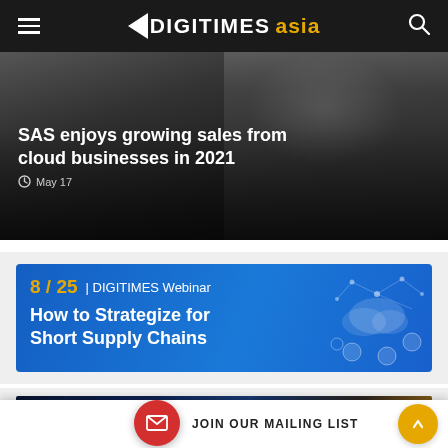DIGITIMES asia
[Figure (photo): Hero image of a person in dark jacket with overlay text about SAS cloud sales story, dated May 17]
SAS enjoys growing sales from cloud businesses in 2021
[Figure (infographic): DIGITIMES Webinar banner: 8/25 | DIGITIMES Webinar — How to Strategize for Short Supply Chains, with blue background and network/cloud graphic]
[Figure (photo): Partial bottom article card with dark blue tech circuit board image]
JOIN OUR MAILING LIST